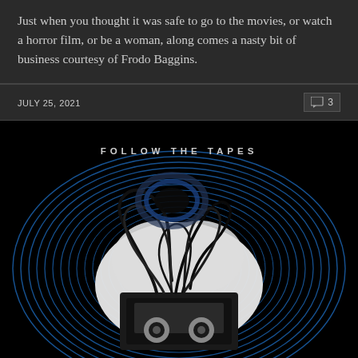Just when you thought it was safe to go to the movies, or watch a horror film, or be a woman, along comes a nasty bit of business courtesy of Frodo Baggins.
JULY 25, 2021
3
[Figure (photo): Promotional image with text 'FOLLOW THE TAPES' showing a VHS tape with unwound tape spilling out, set against a dark background with blue concentric circle rings radiating outward. The VHS cassette is shown in a graphic black and white style against the circular pattern.]